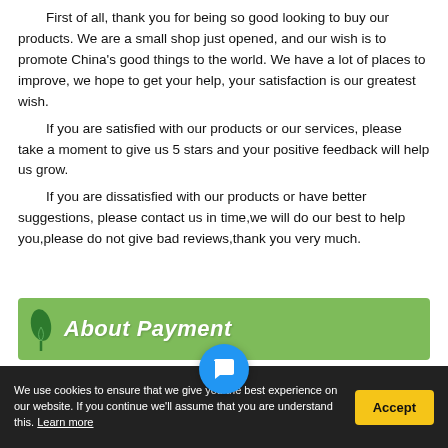First of all, thank you for being so good looking to buy our products. We are a small shop just opened, and our wish is to promote China's good things to the world. We have a lot of places to improve, we hope to get your help, your satisfaction is our greatest wish.
  If you are satisfied with our products or our services, please take a moment to give us 5 stars and your positive feedback will help us grow.
  If you are dissatisfied with our products or have better suggestions, please contact us in time,we will do our best to help you,please do not give bad reviews,thank you very much.
[Figure (infographic): Green banner with a dark green leaf icon on the left and white bold italic text 'About Payment']
1. We accept Alipay/West Union. All major credit cards are...
We use cookies to ensure that we give you the best experience on our website. If you continue we'll assume that you are understand this. Learn more